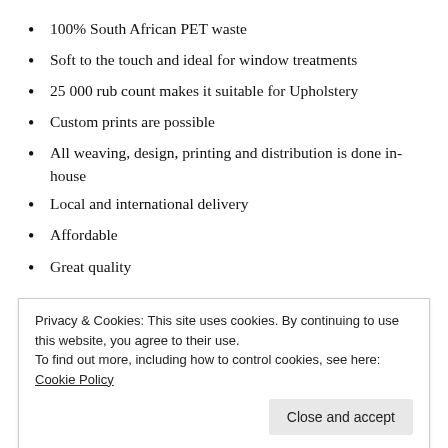100% South African PET waste
Soft to the touch and ideal for window treatments
25 000 rub count makes it suitable for Upholstery
Custom prints are possible
All weaving, design, printing and distribution is done in-house
Local and international delivery
Affordable
Great quality
While it is not the perfect solution, by manufacturing fabric from recycled plastic bottles, the House of Canvex are turning
Privacy & Cookies: This site uses cookies. By continuing to use this website, you agree to their use.
To find out more, including how to control cookies, see here: Cookie Policy
environment would be